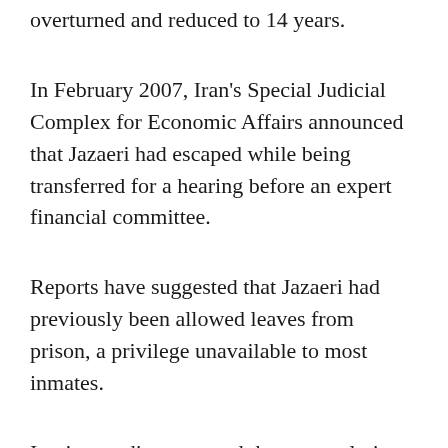overturned and reduced to 14 years.
In February 2007, Iran's Special Judicial Complex for Economic Affairs announced that Jazaeri had escaped while being transferred for a hearing before an expert financial committee.
Reports have suggested that Jazaeri had previously been allowed leaves from prison, a privilege unavailable to most inmates.
Iranian media suggested that some clerics were involved in aiding that escape. Iran's judiciary fired several officials who were involved in his case, including the head of Tehran's vaunted Evin Prison